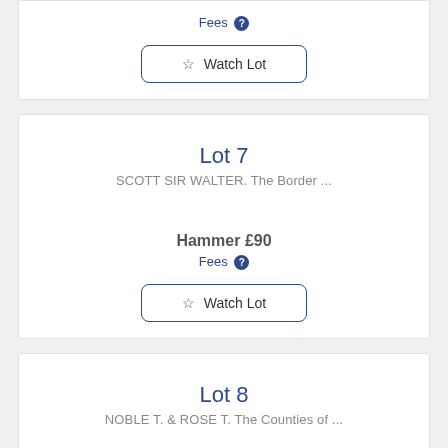Fees
Watch Lot
Lot 7
SCOTT SIR WALTER.  The Border ...
Hammer £90
Fees
Watch Lot
Lot 8
NOBLE T. & ROSE T.  The Counties of ...